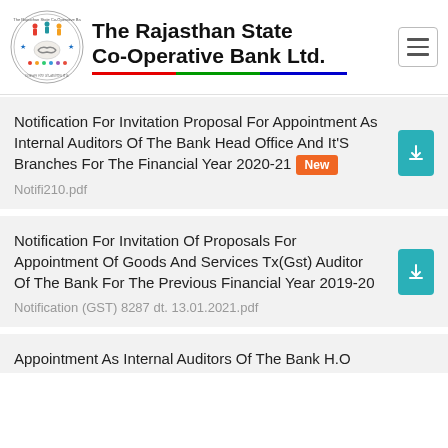[Figure (logo): The Rajasthan State Co-Operative Bank Ltd. circular logo with people holding hands and a handshake in the center]
The Rajasthan State Co-Operative Bank Ltd.
Notification For Invitation Proposal For Appointment As Internal Auditors Of The Bank Head Office And It'S Branches For The Financial Year 2020-21 New
Notifi210.pdf
Notification For Invitation Of Proposals For Appointment Of Goods And Services Tx(Gst) Auditor Of The Bank For The Previous Financial Year 2019-20
Notification (GST) 8287 dt. 13.01.2021.pdf
Appointment As Internal Auditors Of The Bank H.O